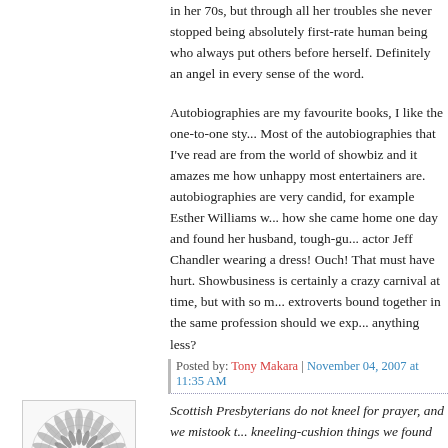in her 70s, but through all her troubles she never stopped being absolutely first-rate human being who always put others before herself. Definitely an angel in every sense of the word.
Autobiographies are my favourite books, I like the one-to-one sty... Most of the autobiographies that I've read are from the world of showbiz and it amazes me how unhappy most entertainers are. autobiographies are very candid, for example Esther Williams w... how she came home one day and found her husband, tough-gu... actor Jeff Chandler wearing a dress! Ouch! That must have hurt. Showbusiness is certainly a crazy carnival at time, but with so m... extroverts bound together in the same profession should we exp... anything less?
Posted by: Tony Makara | November 04, 2007 at 11:35 AM
[Figure (illustration): Avatar image: circular geometric spiral/mandala pattern in grey tones on white square background]
Scottish Presbyterians do not kneel for prayer, and we mistook t... kneeling-cushion things we found under the pew for cushions to... sat upon.
A family friend got married - many years ago - in the Church of Scotland kirk at Dunino, just outside St Andrews. Whilst waiting t... bride to appear, he knelt down and began to pray.